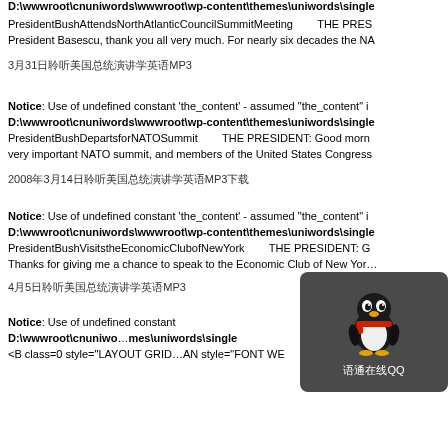D:\wwwroot\cnuniwords\wwwroot\wp-content\themes\uniwords\single
PresidentBushAttendsNorthAtlanticCouncilSummitMeeting       THE PRES
President Basescu, thank you all very much. For nearly six decades the NA
3月31日聆听美国总统演讲学英语MP3
Notice: Use of undefined constant 'the_content' - assumed "the_content" i
D:\wwwroot\cnuniwords\wwwroot\wp-content\themes\uniwords\single
PresidentBushDepartsforNATOSummit       THE PRESIDENT: Good morn
very important NATO summit, and members of the United States Congress
2008年3月14日聆听美国总统演讲学英语MP3下载
Notice: Use of undefined constant 'the_content' - assumed "the_content" i
D:\wwwroot\cnuniwords\wwwroot\wp-content\themes\uniwords\single
PresidentBushVisitstheEconomicClubofNewYork       THE PRESIDENT: G
Thanks for giving me a chance to speak to the Economic Club of New Yor…
4月5日聆听美国总统演讲学英语MP3
Notice: Use of undefined constant '…' assumed "the_content" i
D:\wwwroot\cnuniwo…mes\uniwords\single
<B class=0 style="LAYOUT GRID...AN style="FONT WE
[Figure (screenshot): QQ popup overlay showing a cartoon penguin mascot (Tencent QQ) with red scarf and the text '语通在线QQ' on a dark rounded rectangle background]